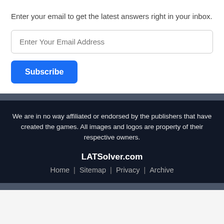Enter your email to get the latest answers right in your inbox.
[Figure (screenshot): Email input field with placeholder text 'Enter Your Email Address']
[Figure (screenshot): Blue Subscribe button]
We are in no way affiliated or endorsed by the publishers that have created the games. All images and logos are property of their respective owners.
LATSolver.com  Home | Sitemap | Privacy | Archive